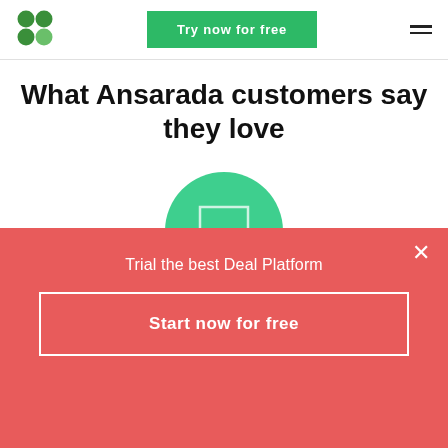[Figure (logo): Ansarada green four-leaf clover logo]
Try now for free
What Ansarada customers say they love
[Figure (illustration): Green circle with a white square/play button icon in the center]
Trial the best Deal Platform
Start now for free